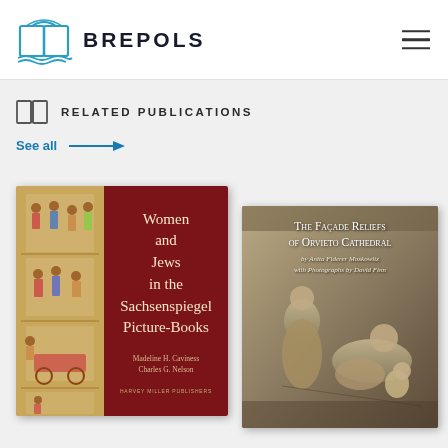[Figure (logo): Brepols publisher logo: open book icon in teal/blue with text BREPOLS]
RELATED PUBLICATIONS
See all →
[Figure (photo): Book cover: Women and Jews in the Sachsenspiegel Picture-Books by Madeline H. Caviness and Charles G. Nelson. Left half shows medieval manuscript illustrations; right half is dark red with Gothic lettering.]
[Figure (photo): Book cover: The Façade Reliefs of Orvieto Cathedral by Anita Fiderer Moskowitz with Photographs by David Finn. Shows stone relief sculptures.]